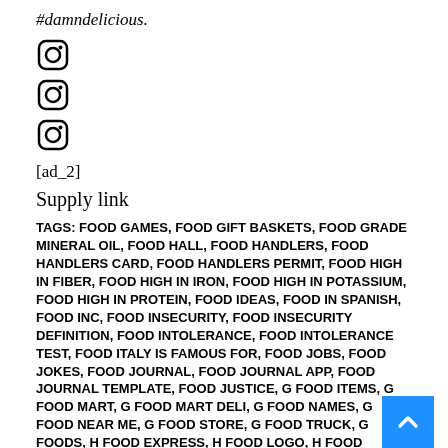#damndelicious.
[Figure (illustration): Three Instagram icon outlines stacked vertically]
[ad_2]
Supply link
TAGS: FOOD GAMES, FOOD GIFT BASKETS, FOOD GRADE MINERAL OIL, FOOD HALL, FOOD HANDLERS, FOOD HANDLERS CARD, FOOD HANDLERS PERMIT, FOOD HIGH IN FIBER, FOOD HIGH IN IRON, FOOD HIGH IN POTASSIUM, FOOD HIGH IN PROTEIN, FOOD IDEAS, FOOD IN SPANISH, FOOD INC, FOOD INSECURITY, FOOD INSECURITY DEFINITION, FOOD INTOLERANCE, FOOD INTOLERANCE TEST, FOOD ITALY IS FAMOUS FOR, FOOD JOBS, FOOD JOKES, FOOD JOURNAL, FOOD JOURNAL APP, FOOD JOURNAL TEMPLATE, FOOD JUSTICE, G FOOD ITEMS, G FOOD MART, G FOOD MART DELI, G FOOD NAMES, G FOOD NEAR ME, G FOOD STORE, G FOOD TRUCK, G FOODS, H FOOD EXPRESS, H FOOD LOGO, H FOOD MARKET, H FOOD MART, H FOOD MART UPLAND CA, H FOOD SHARE PRICE, H FOODS, H FOODS WORDS, I FOOD DELI, I FOOD ITEMS, I FOOD NEAR ME, I FOOD REAL, I